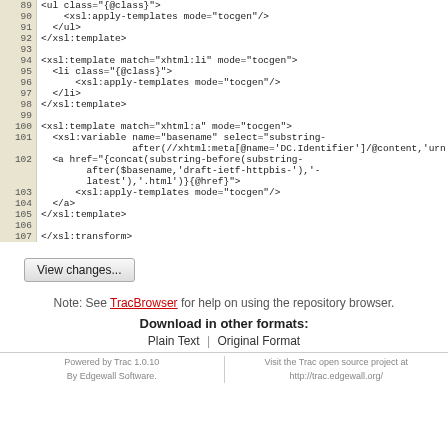[Figure (screenshot): Code viewer showing XSL template lines 89-107 with line numbers on left in tan background and code on right]
View changes...
Note: See TracBrowser for help on using the repository browser.
Download in other formats:
Plain Text | Original Format
Powered by Trac 1.0.10 By Edgewall Software. | Visit the Trac open source project at http://trac.edgewall.org/